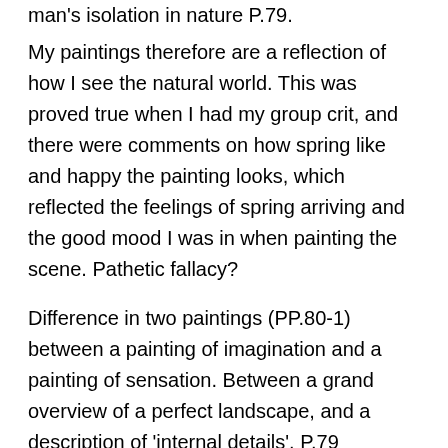man's isolation in nature P.79.
My paintings therefore are a reflection of how I see the natural world. This was proved true when I had my group crit, and there were comments on how spring like and happy the painting looks, which reflected the feelings of spring arriving and the good mood I was in when painting the scene. Pathetic fallacy?
Difference in two paintings (PP.80-1) between a painting of imagination and a painting of sensation. Between a grand overview of a perfect landscape, and a description of 'internal details'. P.79